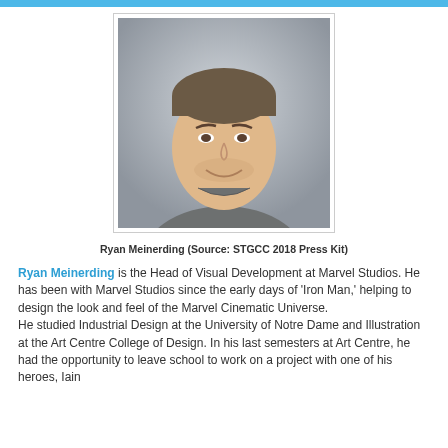[Figure (photo): Headshot photo of Ryan Meinerding, a man wearing a grey t-shirt, smiling, against a light grey background.]
Ryan Meinerding (Source: STGCC 2018 Press Kit)
Ryan Meinerding is the Head of Visual Development at Marvel Studios. He has been with Marvel Studios since the early days of 'Iron Man,' helping to design the look and feel of the Marvel Cinematic Universe.
He studied Industrial Design at the University of Notre Dame and Illustration at the Art Centre College of Design. In his last semesters at Art Centre, he had the opportunity to leave school to work on a project with one of his heroes, Iain